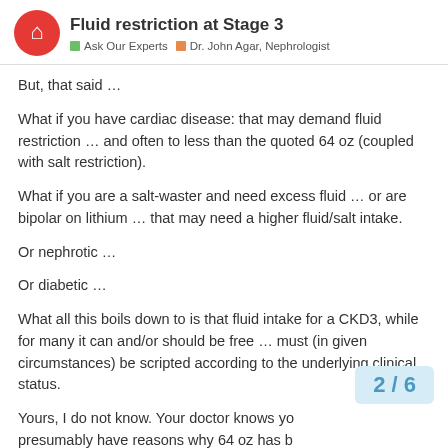Fluid restriction at Stage 3 | Ask Our Experts | Dr. John Agar, Nephrologist
But, that said …
What if you have cardiac disease: that may demand fluid restriction … and often to less than the quoted 64 oz (coupled with salt restriction).
What if you are a salt-waster and need excess fluid … or are bipolar on lithium … that may need a higher fluid/salt intake.
Or nephrotic …
Or diabetic …
What all this boils down to is that fluid intake for a CKD3, while for many it can and/or should be free … must (in given circumstances) be scripted according to the underlying clinical status.
Yours, I do not know. Your doctor knows yo presumably have reasons why 64 oz has b